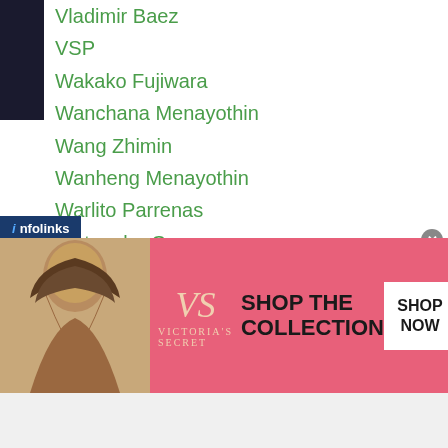Vladimir Baez
VSP
Wakako Fujiwara
Wanchana Menayothin
Wang Zhimin
Wanheng Menayothin
Warlito Parrenas
Watanabe Gym
Wataru Ikegami
Wataru Takeda
Wba
WBA Asia
Wba Atomweight
WBA Eliminator
WBC
Who
... Pacific
[Figure (photo): Victoria's Secret advertisement banner with model, VS logo, 'SHOP THE COLLECTION' text and 'SHOP NOW' button]
infolinks